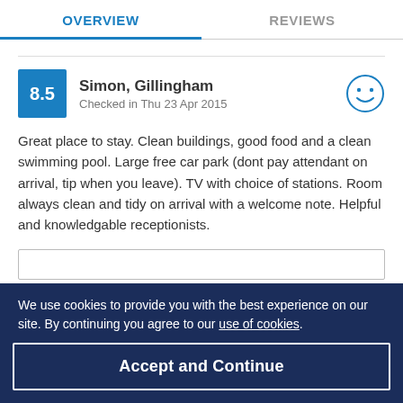OVERVIEW | REVIEWS
Simon, Gillingham
Checked in Thu 23 Apr 2015
Great place to stay. Clean buildings, good food and a clean swimming pool. Large free car park (dont pay attendant on arrival, tip when you leave). TV with choice of stations. Room always clean and tidy on arrival with a welcome note. Helpful and knowledgable receptionists.
We use cookies to provide you with the best experience on our site. By continuing you agree to our use of cookies.
Accept and Continue